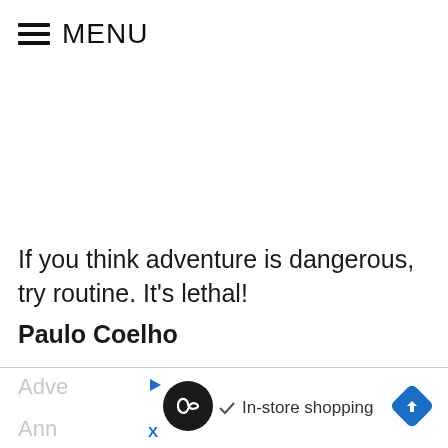MENU
If you think adventure is dangerous, try routine. It's lethal!
Paulo Coelho
[Figure (other): Advertisement bar with logo, play button, close button, checkmark, 'In-store shopping' text, and a blue diamond navigation icon. Partial text 'Adve' and 'Ann' visible on the left.]